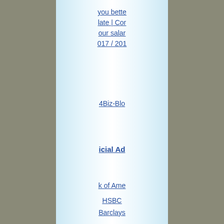you better late | Cor your salar 017 / 201
4Biz-Blo
icial Ad
k of Ame
HSBC
Barclays
Bank of S
ndelsbank
SEB